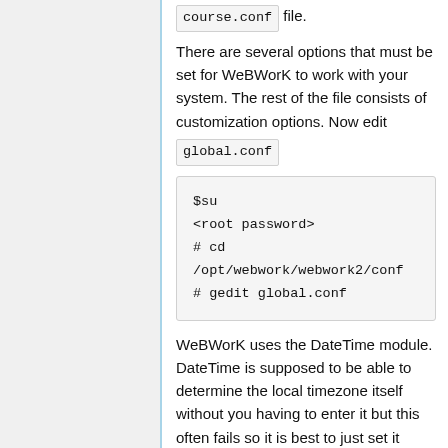course.conf file.
There are several options that must be set for WeBWorK to work with your system. The rest of the file consists of customization options. Now edit global.conf
$su
<root password>
# cd /opt/webwork/webwork2/conf
# gedit global.conf
WeBWorK uses the DateTime module. DateTime is supposed to be able to determine the local timezone itself without you having to enter it but this often fails so it is best to just set it here. For is a list of timezones recognized by DateTime go to